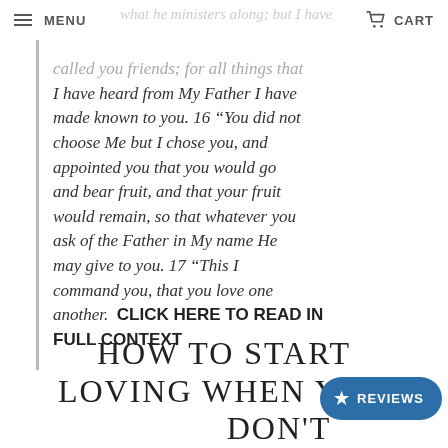MENU | CART
what he ministers along; but I have called you friends, for all things that I have heard from My Father I have made known to you. 16 “You did not choose Me but I chose you, and appointed you that you would go and bear fruit, and that your fruit would remain, so that whatever you ask of the Father in My name He may give to you. 17 “This I command you, that you love one another. CLICK HERE TO READ IN FULL CONTEXT
HOW TO START LOVING WHEN YOU DON'T